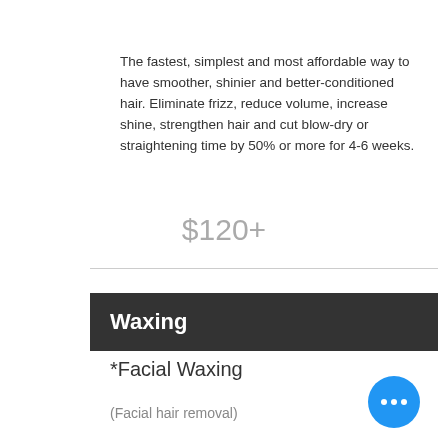The fastest, simplest and most affordable way to have smoother, shinier and better-conditioned hair. Eliminate frizz, reduce volume, increase shine, strengthen hair and cut blow-dry or straightening time by 50% or more for 4-6 weeks.
$120+
Waxing
*Facial Waxing
(Facial hair removal)